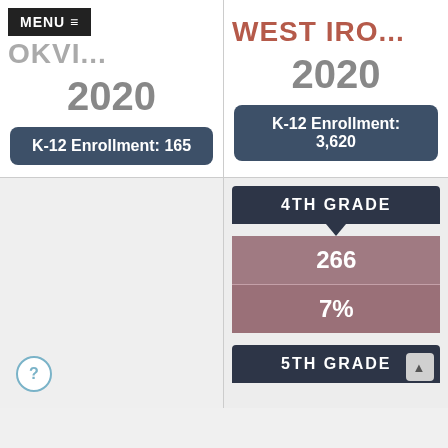MENU ≡
BROOKVI...
WEST IRO...
2020
2020
K-12 Enrollment: 165
K-12 Enrollment: 3,620
4TH GRADE
266
7%
5TH GRADE